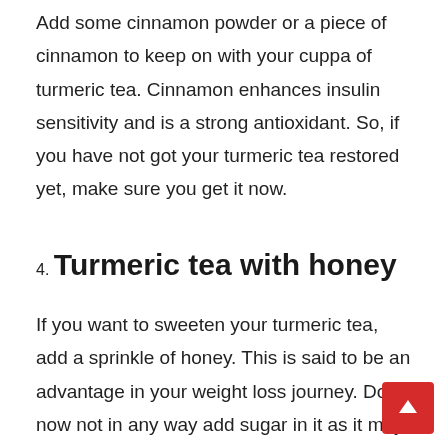Add some cinnamon powder or a piece of cinnamon to keep on with your cuppa of turmeric tea. Cinnamon enhances insulin sensitivity and is a strong antioxidant. So, if you have not got your turmeric tea restored yet, make sure you get it now.
4. Turmeric tea with honey
If you want to sweeten your turmeric tea, add a sprinkle of honey. This is said to be an advantage in your weight loss journey. Do now not in any way add sugar in it as it may most effectively reverse the good results. Honey is understood to suppress urge for food and has anti-